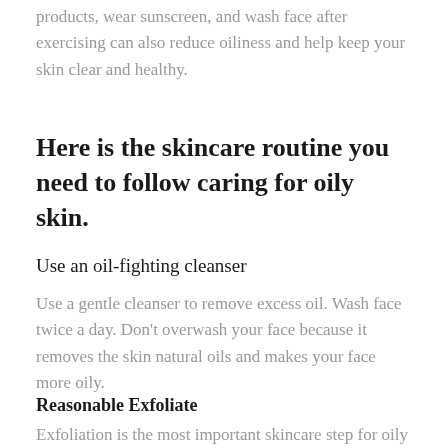products, wear sunscreen, and wash face after exercising can also reduce oiliness and help keep your skin clear and healthy.
Here is the skincare routine you need to follow caring for oily skin.
Use an oil-fighting cleanser
Use a gentle cleanser to remove excess oil. Wash face twice a day. Don't overwash your face because it removes the skin natural oils and makes your face more oily.
Reasonable Exfoliate
Exfoliation is the most important skincare step for oily skin. Oily skin